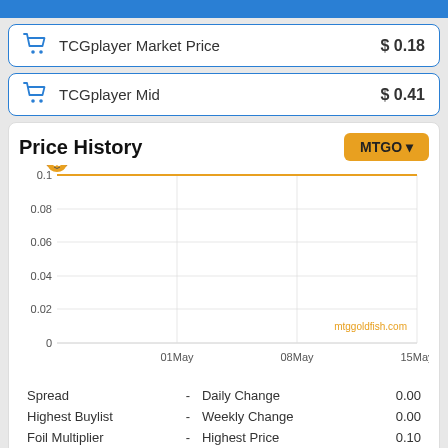TCGplayer Market Price  $0.18
TCGplayer Mid  $0.41
Price History
[Figure (line-chart): Price History (MTGO)]
| Label |  | Label | Value |
| --- | --- | --- | --- |
| Spread | - | Daily Change | 0.00 |
| Highest Buylist | - | Weekly Change | 0.00 |
| Foil Multiplier | - | Highest Price | 0.10 |